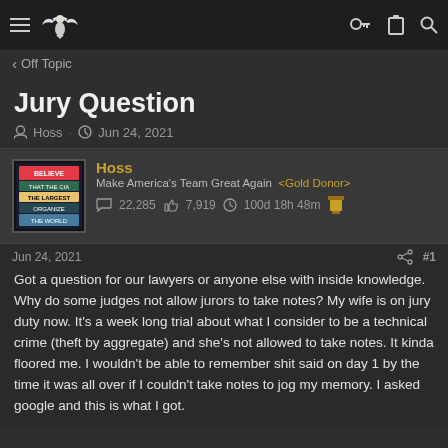Off Topic
Jury Question
Hoss · Jun 24, 2021
Hoss
Make America's Team Great Again <Gold Donor>
22,285  7,919  100d 18h 48m
Jun 24, 2021  #1

Got a question for our lawyers or anyone else with inside knowledge. Why do some judges not allow jurors to take notes? My wife is on jury duty now. It's a week long trial about what I consider to be a technical crime (theft by aggregate) and she's not allowed to take notes. It kinda floored me. I wouldn't be able to remember shit said on day 1 by the time it was all over if I couldn't take notes to jog my memory. I asked google and this is what I got.